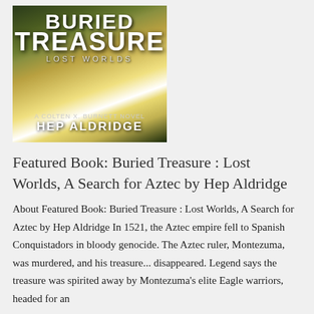[Figure (illustration): Book cover for 'Buried Treasure: Lost Worlds, A Search for Aztec' by Hep Aldridge. Dark jungle canyon background with golden light. Title in large white bold text, subtitle 'LOST WORLDS' in spaced letters, author byline 'A COLTEN X. BURNETT NOVEL' and 'HEP ALDRIDGE' at bottom.]
Featured Book: Buried Treasure : Lost Worlds, A Search for Aztec by Hep Aldridge
About Featured Book: Buried Treasure : Lost Worlds, A Search for Aztec by Hep Aldridge In 1521, the Aztec empire fell to Spanish Conquistadors in bloody genocide. The Aztec ruler, Montezuma, was murdered, and his treasure... disappeared. Legend says the treasure was spirited away by Montezuma's elite Eagle warriors, headed for an